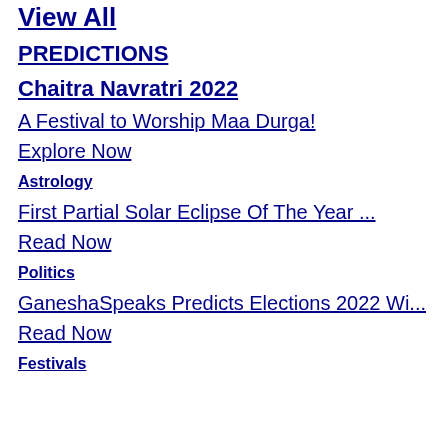View All
PREDICTIONS
Chaitra Navratri 2022
A Festival to Worship Maa Durga!
Explore Now
Astrology
First Partial Solar Eclipse Of The Year ...
Read Now
Politics
GaneshaSpeaks Predicts Elections 2022 Wi...
Read Now
Festivals